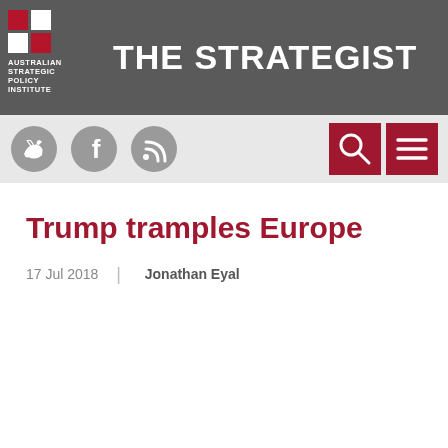THE STRATEGIST — Australian Strategic Policy Institute
Trump tramples Europe
17 Jul 2018  |  Jonathan Eyal